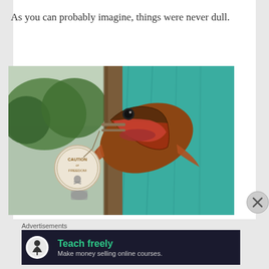As you can probably imagine, things were never dull.
[Figure (photo): A fish with its mouth wide open, hanging from a branch, with a teal tarp background and trees/hills in the background. A round tag with a skull-and-crossbones design hangs from the branch.]
Advertisements
[Figure (infographic): Advertisement banner: dark background with a white circle icon containing a person/tree logo. Text reads 'Teach freely' in green and 'Make money selling online courses.' in light gray.]